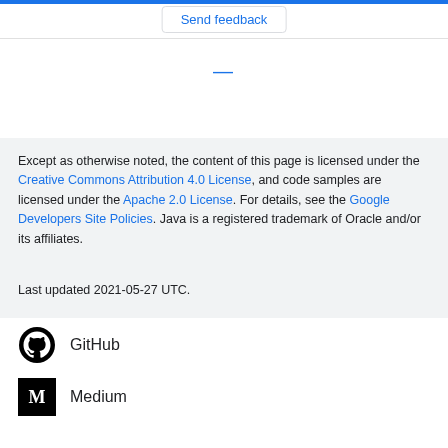Send feedback
Except as otherwise noted, the content of this page is licensed under the Creative Commons Attribution 4.0 License, and code samples are licensed under the Apache 2.0 License. For details, see the Google Developers Site Policies. Java is a registered trademark of Oracle and/or its affiliates.
Last updated 2021-05-27 UTC.
GitHub
Medium